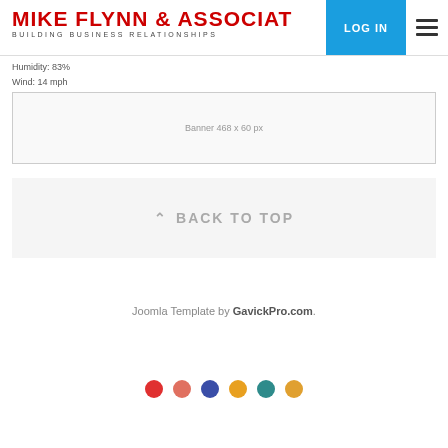Mike Flynn & Associates — Building Business Relationships
Humidity: 83%
Wind: 14 mph
[Figure (other): Banner advertisement placeholder — Banner 468 x 60 px]
^ BACK TO TOP
Joomla Template by GavickPro.com.
[Figure (other): Six colored dots: red, salmon, blue, orange, teal, gold]